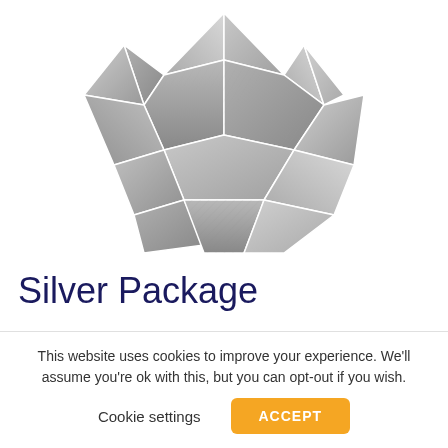[Figure (illustration): Abstract silver/grey geometric diamond shape made of triangular facets, resembling a gem or crystal ball, centered in the upper portion of the page]
Silver Package
This website uses cookies to improve your experience. We'll assume you're ok with this, but you can opt-out if you wish.
Cookie settings    ACCEPT